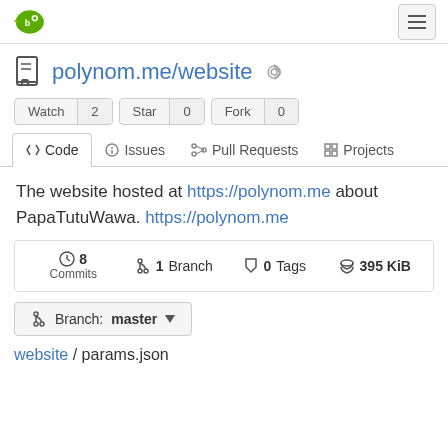Gitea logo and hamburger menu
polynom.me/website
Watch 2  Star 0  Fork 0
Code  Issues  Pull Requests  Projects
The website hosted at https://polynom.me about PapaTutuWawa. https://polynom.me
8 Commits  1 Branch  0 Tags  395 KiB
Branch: master
website / params.json